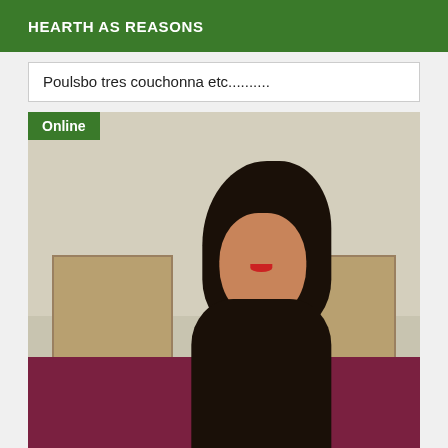HEARTH AS REASONS
Poulsbo tres couchonna etc..........
[Figure (photo): Photo of a woman with long dark hair, red lipstick, smiling, in a room with wooden shelves on the wall. An 'Online' badge appears in the top-left corner of the photo.]